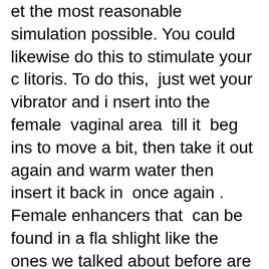et the most reasonable simulation possible. You could likewise do this to stimulate your clitoris. To do this, just wet your vibrator and insert into the female vaginal area till it begins to move a bit, then take it out again and warm water then insert it back in once again.
Female enhancers that can be found in a flashlight like the ones we talked about before are usually not overly costly.
A fundamental sleeve is around forty dollars, and they will last for numerous years. The best thing about a sleeve is that you can purchase them to match any dress or top you wear. These enhancers are developed to be comfortable to wear inside of the vagina.
To fully mimic the sensation of intercourse, the flashlight must be worn with a prophylac